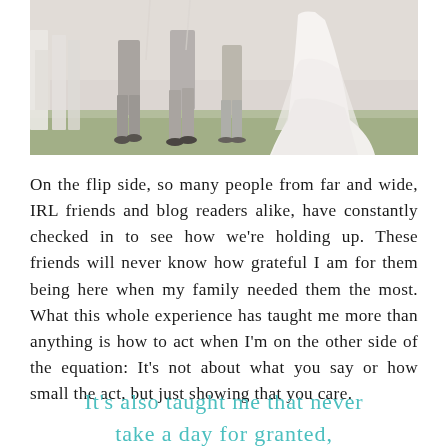[Figure (photo): Outdoor wedding ceremony photo showing legs and lower bodies of wedding party and guests, with chairs visible on left and bride's white dress on right, green grass visible]
On the flip side, so many people from far and wide, IRL friends and blog readers alike, have constantly checked in to see how we're holding up. These friends will never know how grateful I am for them being here when my family needed them the most. What this whole experience has taught me more than anything is how to act when I'm on the other side of the equation: It's not about what you say or how small the act, but just showing that you care.
It's also taught me that never take a day for granted,